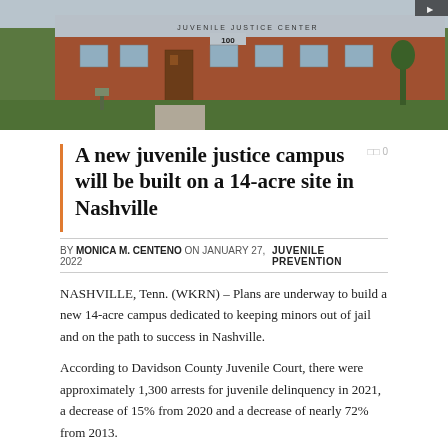[Figure (photo): Exterior photo of a juvenile justice center building — red brick building with a sign reading 'JUVENILE JUSTICE CENTER' and number '100', surrounded by green lawn and gray sky]
A new juvenile justice campus will be built on a 14-acre site in Nashville
BY MONICA M. CENTENO ON JANUARY 27, 2022   JUVENILE PREVENTION
NASHVILLE, Tenn. (WKRN) – Plans are underway to build a new 14-acre campus dedicated to keeping minors out of jail and on the path to success in Nashville.
According to Davidson County Juvenile Court, there were approximately 1,300 arrests for juvenile delinquency in 2021, a decrease of 15% from 2020 and a decrease of nearly 72% from 2013.